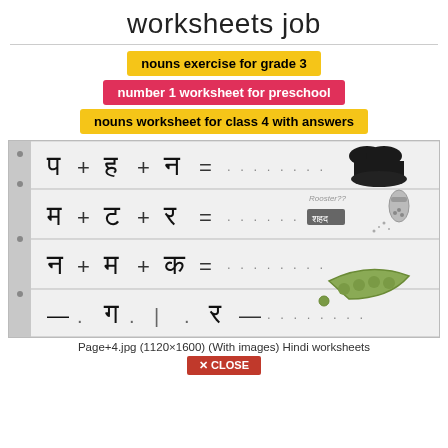worksheets job
nouns exercise for grade 3
number 1 worksheet for preschool
nouns worksheet for class 4 with answers
[Figure (photo): Scanned Hindi worksheet page showing Devanagari letter combination exercises with images of objects on the right side.]
Page+4.jpg (1120×1600) (With images) Hindi worksheets
✕ CLOSE